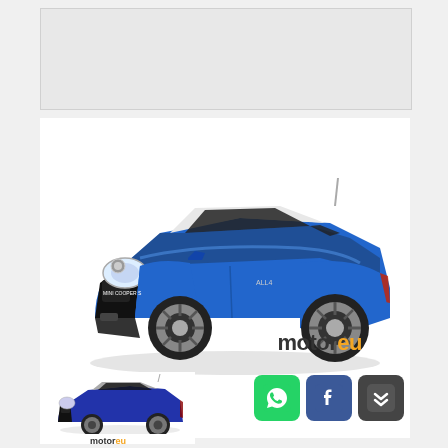Ads
[Figure (photo): Blue MINI Cooper S Paceman SUV coupe, side/front 3/4 view on white background, with motoreu logo]
[Figure (photo): Small thumbnail of dark blue MINI Cooper S Paceman with motoreu logo below]
[Figure (infographic): Three social media buttons: WhatsApp (green), Facebook (blue), Citroen (dark grey with chevron logo)]